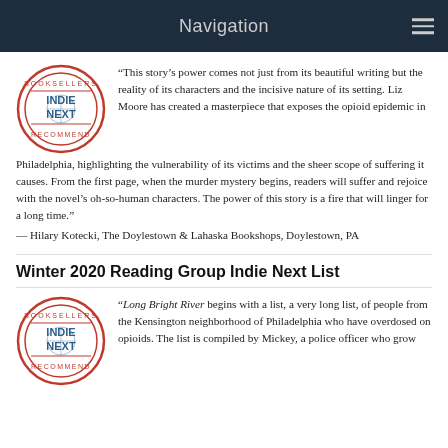Navigation
“This story’s power comes not just from its beautiful writing but the reality of its characters and the incisive nature of its setting. Liz Moore has created a masterpiece that exposes the opioid epidemic in Philadelphia, highlighting the vulnerability of its victims and the sheer scope of suffering it causes. From the first page, when the murder mystery begins, readers will suffer and rejoice with the novel’s oh-so-human characters. The power of this story is a fire that will linger for a long time.”
— Hilary Kotecki, The Doylestown & Lahaska Bookshops, Doylestown, PA
Winter 2020 Reading Group Indie Next List
“Long Bright River begins with a list, a very long list, of people from the Kensington neighborhood of Philadelphia who have overdosed on opioids. The list is compiled by Mickey, a police officer who grow